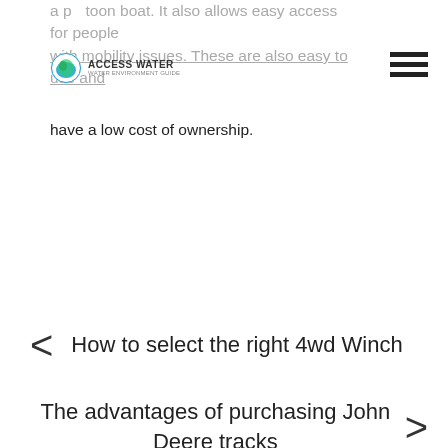a pontoon boat. It also allows easy access for people with mobility issues. These are also easy to use and have a low cost of ownership.
How to select the right 4wd Winch
The advantages of purchasing John Deere tracks